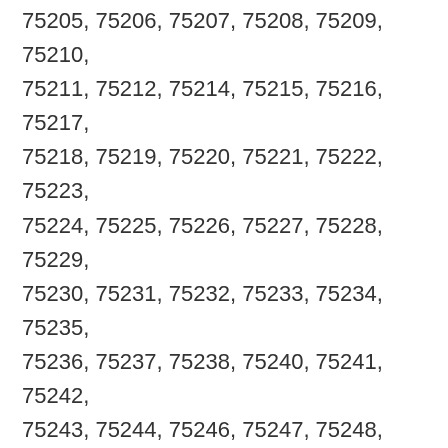75205, 75206, 75207, 75208, 75209, 75210, 75211, 75212, 75214, 75215, 75216, 75217, 75218, 75219, 75220, 75221, 75222, 75223, 75224, 75225, 75226, 75227, 75228, 75229, 75230, 75231, 75232, 75233, 75234, 75235, 75236, 75237, 75238, 75240, 75241, 75242, 75243, 75244, 75246, 75247, 75248, 75249, 75250, 75251, 75252, 75253, 75254, 75260, 75261, 75262, 75263, 75264, 75265, 75266, 75267, 75270, 75275, 75277, 75283, 75284, 75285, 75287, 75301, 75303, 75312, 75313, 75315, 75320, 75326, 75336, 75339, 75342, 75354, 75355, 75356, 75357, 75358, 75359, 75360, 75367, 75368, 75370, 75371, 75372, 75373, 75374, 75376, 75378, 75379, 75380,